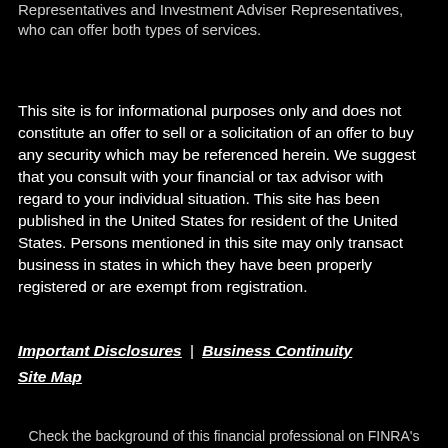Representatives and Investment Adviser Representatives, who can offer both types of services.
This site is for informational purposes only and does not constitute an offer to sell or a solicitation of an offer to buy any security which may be referenced herein. We suggest that you consult with your financial or tax advisor with regard to your individual situation. This site has been published in the United States for resident of the United States. Persons mentioned in this site may only transact business in states in which they have been properly registered or are exempt from registration.
Important Disclosures | Business Continuity
Site Map
Check the background of this financial professional on FINRA's